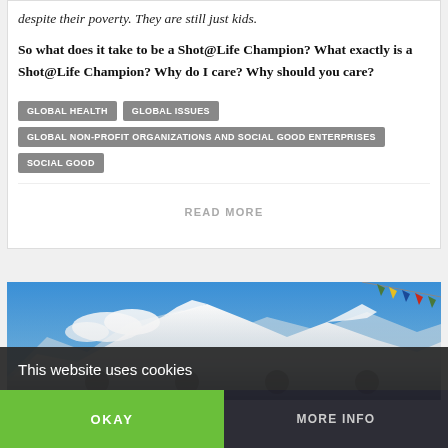despite their poverty. They are still just kids.
So what does it take to be a Shot@Life Champion? What exactly is a Shot@Life Champion? Why do I care? Why should you care?
GLOBAL HEALTH
GLOBAL ISSUES
GLOBAL NON-PROFIT ORGANIZATIONS AND SOCIAL GOOD ENTERPRISES
SOCIAL GOOD
READ MORE
[Figure (photo): Mountain landscape with snow-capped peaks under a blue sky, with colorful prayer flags in the upper right corner. Dark overlay at bottom.]
This website uses cookies
OKAY
MORE INFO